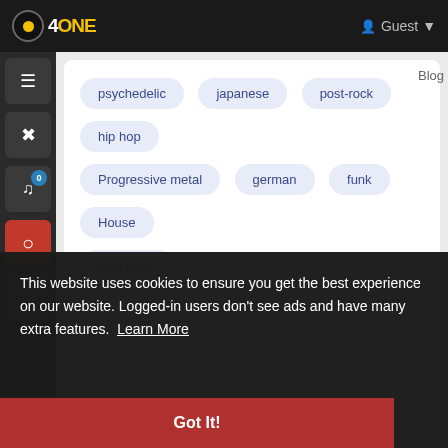4ONE | Guest
psychedelic
japanese
post-rock
hip hop
Progressive metal
german
funk
House
new wave
This website uses cookies to ensure you get the best experience on our website. Logged-in users don't see ads and have many extra features. Learn More
Got It!